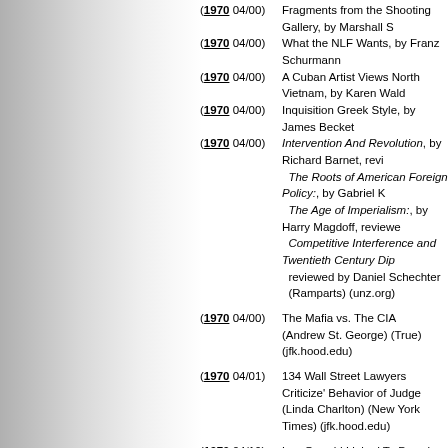(1970 04/00) Fragments from the Shooting Gallery, by Marshall S
(1970 04/00) What the NLF Wants, by Franz Schurmann
(1970 04/00) A Cuban Artist Views North Vietnam, by Karen Wald
(1970 04/00) Inquisition Greek Style, by James Becket
(1970 04/00) Intervention And Revolution, by Richard Barnet, revi The Roots of American Foreign Policy:, by Gabriel K The Age of Imperialism:, by Harry Magdoff, reviewe Competitive Interference and Twentieth Century Dip reviewed by Daniel Schechter (Ramparts) (unz.org)
(1970 04/00) The Mafia vs. The CIA (Andrew St. George) (True) (jfk.hood.edu)
(1970 04/01) 134 Wall Street Lawyers Criticize' Behavior of Judge (Linda Charlton) (New York Times) (jfk.hood.edu)
(1970 04/19) Lee Oswald Linked To Downing of U-2 (Francis Gary Powers) (Philadelphia Bulletin) (jfk.ho
(1970 05/00) Was I Betrayed by Lee Harvey Oswald? (Gary Powers) (jfk.hood.edu)
(1970 05/00) Toward an Ecological Solution, by Murray Bookchin
(1970 05/00) Catch 24,400 (or, Plutonium Is My Favorite Element)
(1970 05/00) The Making of a Pollution-Industrial Complex, by Ma
(1970 05/00) Para-Real Estate: The Handing Out of Resources, b
(1970 05/00) A Short History of the California Water Plan As It Reb Waterlords and the Creation of Deserts, by Gene Ma
(1970 05/00) Why the Population Bomb Is a Rockefeller Baby, by
(1970 05/00) The Eco-Establishment, by Katherine Barkley and S
(1970 05/00) Science and the Gross National Pollution, by Georg